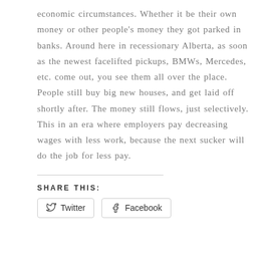economic circumstances. Whether it be their own money or other people's money they got parked in banks. Around here in recessionary Alberta, as soon as the newest facelifted pickups, BMWs, Mercedes, etc. come out, you see them all over the place. People still buy big new houses, and get laid off shortly after. The money still flows, just selectively. This in an era where employers pay decreasing wages with less work, because the next sucker will do the job for less pay.
SHARE THIS:
Twitter  Facebook